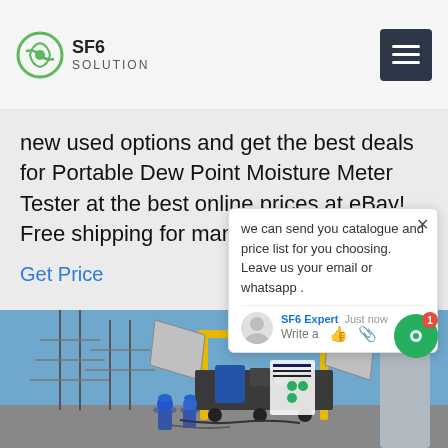SF6 SOLUTION
new used options and get the best deals for Portable Dew Point Moisture Meter Tester at the best online prices at eBay! Free shipping for many products!
Get Price
we can send you catalogue and price list for you choosing.
Leave us your email or whatsapp .
SF6 Expert   just now
Write a
[Figure (photo): Outdoor electrical substation with yellow SF6 gas handling equipment on a mobile cart, workers in blue helmets, power lines and transformer equipment visible in background under clear blue sky.]